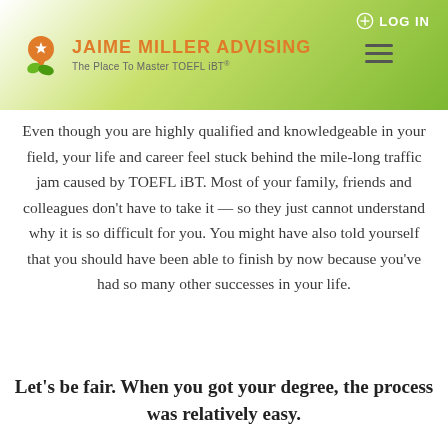[Figure (logo): Jaime Miller Advising website header with logo, navigation hamburger menu, and LOG IN button on a green gradient background]
Even though you are highly qualified and knowledgeable in your field, your life and career feel stuck behind the mile-long traffic jam caused by TOEFL iBT. Most of your family, friends and colleagues don't have to take it — so they just cannot understand why it is so difficult for you. You might have also told yourself that you should have been able to finish by now because you've had so many other successes in your life.
Let's be fair. When you got your degree, the process was relatively easy.